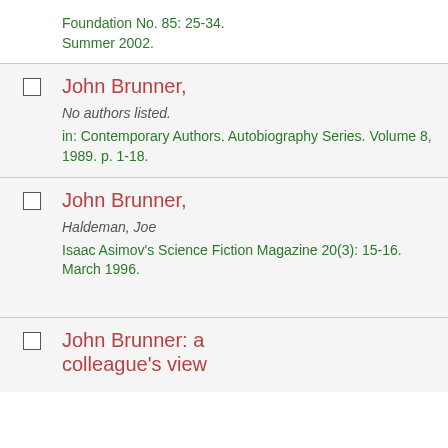Foundation No. 85: 25-34. Summer 2002.
John Brunner, | No authors listed. | in: Contemporary Authors. Autobiography Series. Volume 8, 1989. p. 1-18.
John Brunner, | Haldeman, Joe | Isaac Asimov's Science Fiction Magazine 20(3): 15-16. March 1996.
John Brunner: a colleague's view